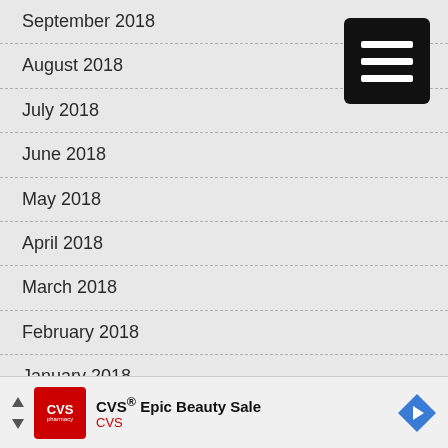September 2018
August 2018
July 2018
June 2018
May 2018
April 2018
March 2018
February 2018
January 2018
December 2017
November 2017
October 2017
September 2017
[Figure (screenshot): CVS Epic Beauty Sale advertisement banner with CVS pharmacy logo, navigation arrows, and a diamond-shaped direction icon]
[Figure (other): Hamburger menu button (three horizontal white lines on black rounded square background) in top right corner]